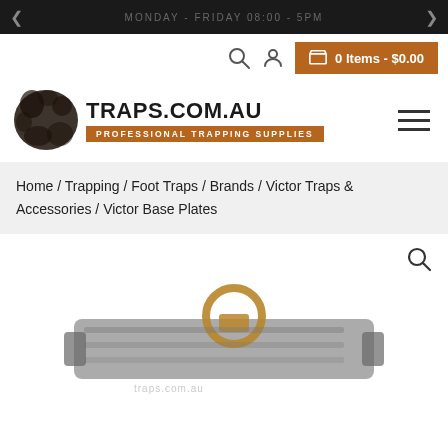MONDAY - FRIDAY 08:00 - 5PM
[Figure (logo): Traps.com.au logo with blob ink splatter and orange subtitle bar reading PROFESSIONAL TRAPPING SUPPLIES]
Home / Trapping / Foot Traps / Brands / Victor Traps & Accessories / Victor Base Plates
[Figure (photo): Product photo of Victor Base Plates trap component, partially visible at bottom of page, with traps.com.au watermark]